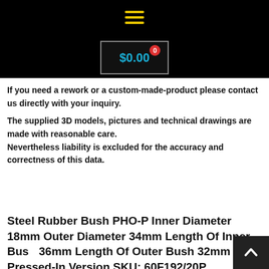Navigation menu / cart header bar
If you need a rework or a custom-made-product please contact us directly with your inquiry.
The supplied 3D models, pictures and technical drawings are made with reasonable care. Nevertheless liability is excluded for the accuracy and correctness of this data.
Steel Rubber Bush PHO-P Inner Diameter 18mm Outer Diameter 34mm Length Of Inner Bush 36mm Length Of Outer Bush 32mm Pressed-In Version SKU: 60F192/20P